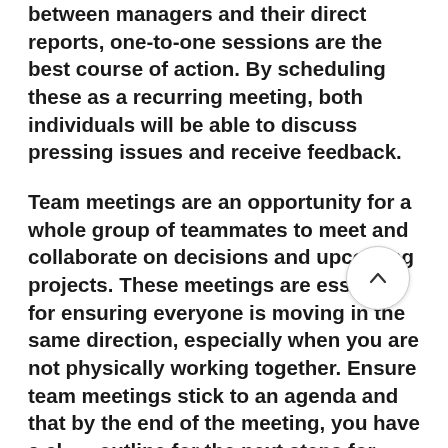between managers and their direct reports, one-to-one sessions are the best course of action. By scheduling these as a recurring meeting, both individuals will be able to discuss pressing issues and receive feedback.
Team meetings are an opportunity for a whole group of teammates to meet and collaborate on decisions and upcoming projects. These meetings are essential for ensuring everyone is moving in the same direction, especially when you are not physically working together. Ensure team meetings stick to an agenda and that by the end of the meeting, you have a clear outline for the next steps for every participant. By documenting the meeting in notes, everyone can easily refer back to the points discussed afterward. One-off meetings are those that are held once in a while for a specific reason such as a project kick-off or review, or a planning session.